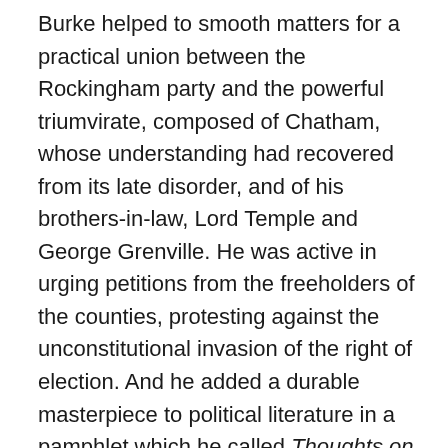Burke helped to smooth matters for a practical union between the Rockingham party and the powerful triumvirate, composed of Chatham, whose understanding had recovered from its late disorder, and of his brothers-in-law, Lord Temple and George Grenville. He was active in urging petitions from the freeholders of the counties, protesting against the unconstitutional invasion of the right of election. And he added a durable masterpiece to political literature in a pamphlet which he called Thoughts on the Cause of the Present Discontents (1770). The immediate object of this excellent piece was to hold up the court scheme of weak, divided and dependent administrations in the light of its real purpose and design; to describe the distempers which had been engendered in parliament by the growth of royal influence and the faction of the king's friends; to show that the newly formed Whig party had combined for truly public ends, and was no mere